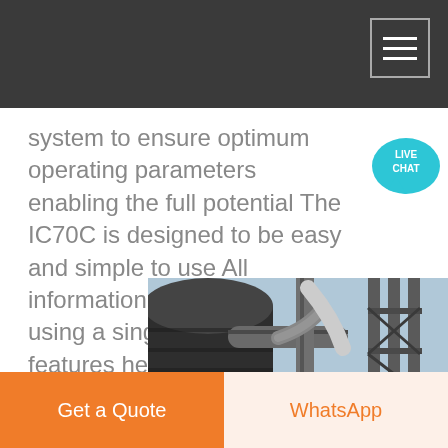system to ensure optimum operating parameters enabling the full potential The IC70C is designed to be easy and simple to use All information can be tracked using a single screen and features help and trouble shooting options Find out more about 174 HP900 Series cone crusher on…
[Figure (photo): Industrial equipment photo showing large cylindrical pipes/tanks and metal framework of what appears to be a cone crusher or processing plant.]
Get a Quote | WhatsApp